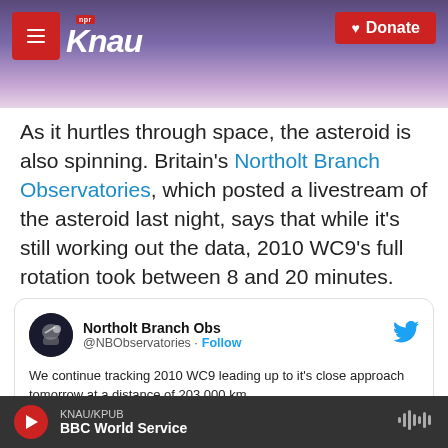KNAU NPR — Donate
As it hurtles through space, the asteroid is also spinning. Britain's Northolt Branch Observatories, which posted a livestream of the asteroid last night, says that while it's still working out the data, 2010 WC9's full rotation took between 8 and 20 minutes.
[Figure (screenshot): Embedded tweet from @NBObservatories (Northolt Branch Obs) with Twitter bird icon, showing text: 'We continue tracking 2010 WC9 leading up to it's close approach tomorrow at a distance of 203,000 km #SpotTheAsteroid @AsteroidDay @NEOShieldTeam @CloseApproaches @AsteroidTracker @AstronomyFM @AstronomyNow']
KNAU/KPUB — BBC World Service (player bar)